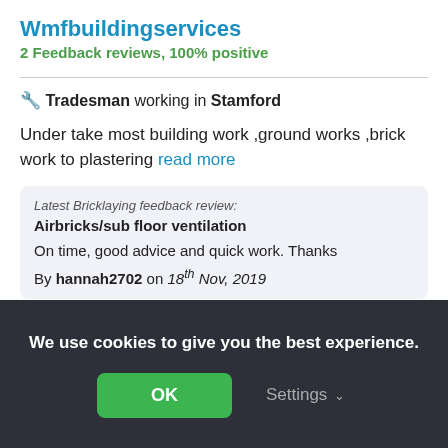Wmfbuildingservices
2 Feedback reviews, 100% positive
🔧 Tradesman working in Stamford
Under take most building work ,ground works ,brick work to plastering read more
Latest Bricklaying feedback review:
Airbricks/sub floor ventilation
On time, good advice and quick work. Thanks
By hannah2702 on 18th Nov, 2019
Invite to quote
We use cookies to give you the best experience.
OK
Settings